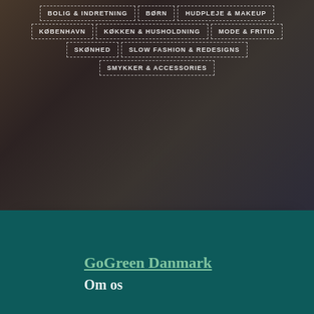[Figure (screenshot): Background image of a retail/clothing store with dark overlay, showing navigation menu items in white dashed-bordered boxes]
We use cookies on our website to give you the most relevant experience by remembering your preferences and repeat visits. By clicking “Accept All”, you consent to the use of ALL the cookies. However, you may visit "Cookie Settings" to provide a controlled consent.
Cookie Settings
Accept All
GoGreen Danmark
Om os